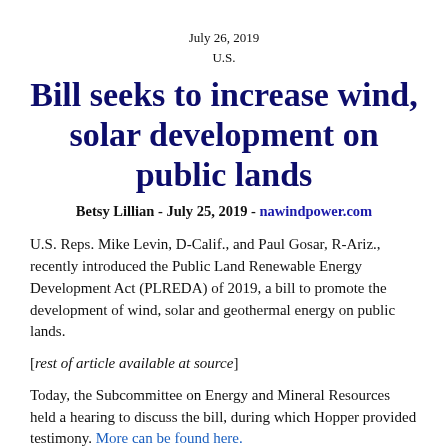July 26, 2019
U.S.
Bill seeks to increase wind, solar development on public lands
Betsy Lillian - July 25, 2019 - nawindpower.com
U.S. Reps. Mike Levin, D-Calif., and Paul Gosar, R-Ariz., recently introduced the Public Land Renewable Energy Development Act (PLREDA) of 2019, a bill to promote the development of wind, solar and geothermal energy on public lands.
[rest of article available at source]
Today, the Subcommittee on Energy and Mineral Resources held a hearing to discuss the bill, during which Hopper provided testimony. More can be found here.